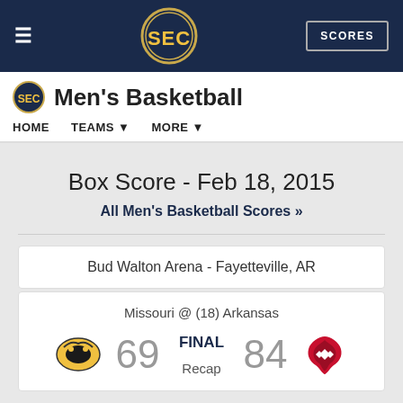SEC Men's Basketball - HOME | TEAMS | MORE | SCORES
Box Score - Feb 18, 2015
All Men's Basketball Scores »
Bud Walton Arena - Fayetteville, AR
Missouri @ (18) Arkansas
| Away Team | Away Score | Status | Home Score | Home Team |
| --- | --- | --- | --- | --- |
| Missouri | 69 | FINAL | 84 | Arkansas |
Recap